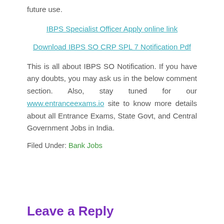future use.
IBPS Specialist Officer Apply online link
Download IBPS SO CRP SPL 7 Notification Pdf
This is all about IBPS SO Notification. If you have any doubts, you may ask us in the below comment section. Also, stay tuned for our www.entranceexams.io site to know more details about all Entrance Exams, State Govt, and Central Government Jobs in India.
Filed Under: Bank Jobs
Leave a Reply